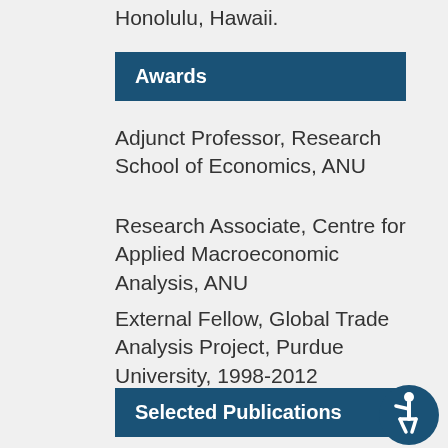Honolulu, Hawaii.
Awards
Adjunct Professor, Research School of Economics, ANU
Research Associate, Centre for Applied Macroeconomic Analysis, ANU
External Fellow, Global Trade Analysis Project, Purdue University, 1998-2012
Selected Publications
Website